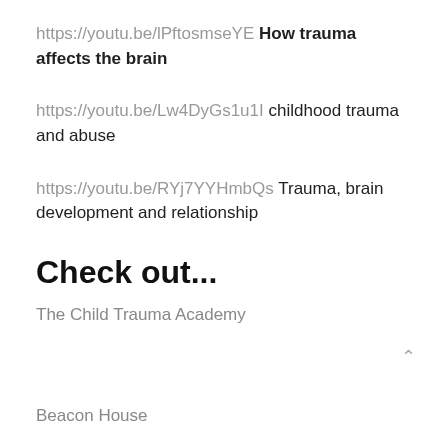https://youtu.be/lPftosmseYE How trauma affects the brain
https://youtu.be/Lw4DyGs1u1I childhood trauma and abuse
https://youtu.be/RYj7YYHmbQs Trauma, brain development and relationship
Check out...
The Child Trauma Academy
Beacon House